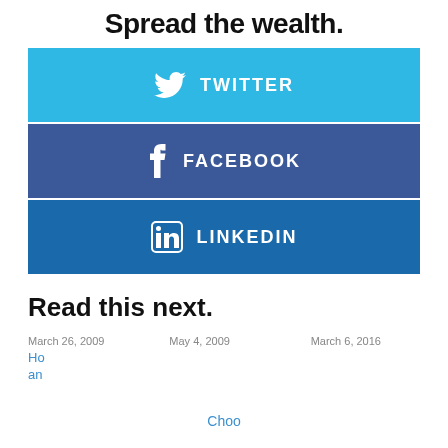Spread the wealth.
[Figure (infographic): Three social share buttons: Twitter (light blue), Facebook (dark blue), LinkedIn (medium blue), each with icon and label.]
Read this next.
March 26, 2009   May 4, 2009   March 6, 2016
[Figure (infographic): Three article card thumbnails partially visible, with dates March 26 2009, May 4 2009, March 6 2016, and partial titles. A green banner overlays center. Close X button on right.]
Choo